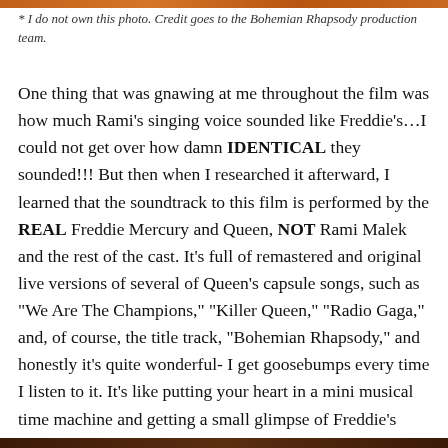[Figure (photo): Decorative colored bar at top of page with orange/amber gradient]
* I do not own this photo. Credit goes to the Bohemian Rhapsody production team.
One thing that was gnawing at me throughout the film was how much Rami’s singing voice sounded like Freddie’s…I could not get over how damn IDENTICAL they sounded!!! But then when I researched it afterward, I learned that the soundtrack to this film is performed by the REAL Freddie Mercury and Queen, NOT Rami Malek and the rest of the cast. It’s full of remastered and original live versions of several of Queen’s capsule songs, such as “We Are The Champions,” “Killer Queen,” “Radio Gaga,” and, of course, the title track, “Bohemian Rhapsody,” and honestly it’s quite wonderful- I get goosebumps every time I listen to it. It’s like putting your heart in a mini musical time machine and getting a small glimpse of Freddie’s enigmatic soul with every listen.
[Figure (photo): Dark decorative bar at bottom of page]